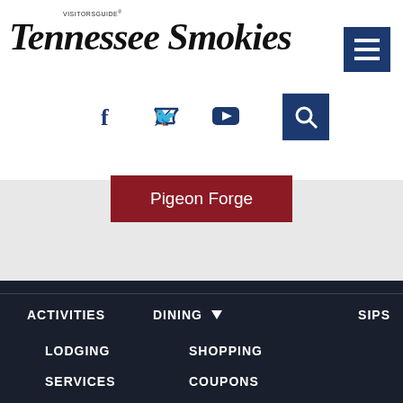TENNESSEE SMOKIES Visitors Guide
[Figure (screenshot): Website navigation screenshot for Tennessee Smokies Visitors Guide with logo, social media icons, hamburger menu, Pigeon Forge button, and navigation links: Activities, Dining, Sips, Lodging, Shopping, Services, Coupons]
Pigeon Forge
ACTIVITIES
DINING
SIPS
LODGING
SHOPPING
SERVICES
COUPONS